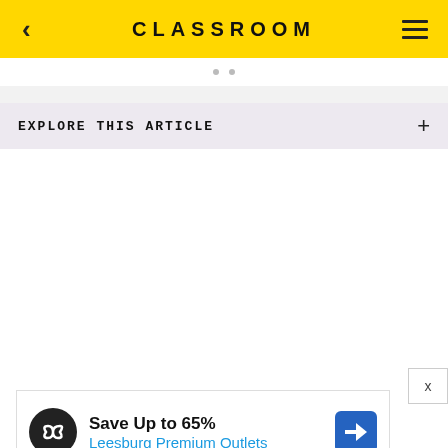CLASSROOM
EXPLORE THIS ARTICLE +
[Figure (screenshot): Advertisement banner: Save Up to 65% Leesburg Premium Outlets]